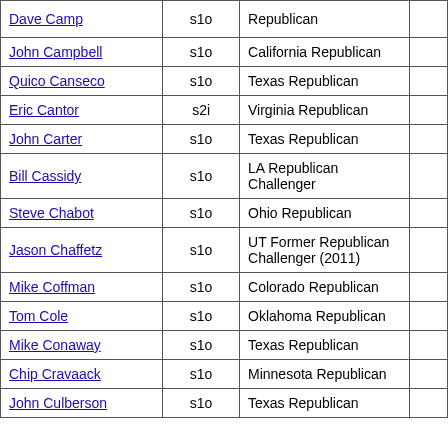| Name | Code | Description |  |
| --- | --- | --- | --- |
| Dave Camp | s1o | Republican |  |
| John Campbell | s1o | California Republican |  |
| Quico Canseco | s1o | Texas Republican |  |
| Eric Cantor | s2i | Virginia Republican |  |
| John Carter | s1o | Texas Republican |  |
| Bill Cassidy | s1o | LA Republican Challenger |  |
| Steve Chabot | s1o | Ohio Republican |  |
| Jason Chaffetz | s1o | UT Former Republican Challenger (2011) |  |
| Mike Coffman | s1o | Colorado Republican |  |
| Tom Cole | s1o | Oklahoma Republican |  |
| Mike Conaway | s1o | Texas Republican |  |
| Chip Cravaack | s1o | Minnesota Republican |  |
| John Culberson | s1o | Texas Republican |  |